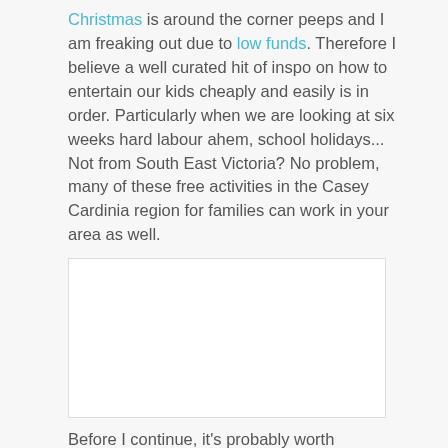Christmas is around the corner peeps and I am freaking out due to low funds. Therefore I believe a well curated hit of inspo on how to entertain our kids cheaply and easily is in order. Particularly when we are looking at six weeks hard labour ahem, school holidays... Not from South East Victoria? No problem, many of these free activities in the Casey Cardinia region for families can work in your area as well.
[Figure (photo): White/blank image placeholder with light border]
Before I continue, it's probably worth